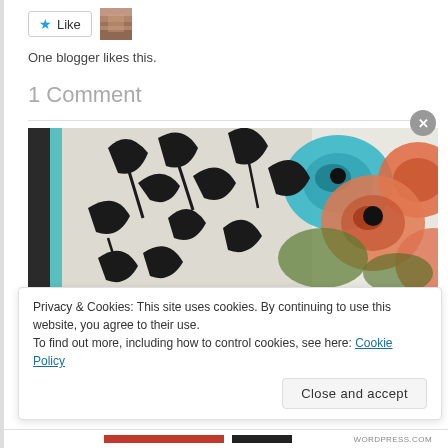[Figure (other): Like button with star icon and avatar thumbnail image]
One blogger likes this.
1 Comment
[Figure (photo): Close-up photo of a decorative art piece with black floral cut-outs over colorful painted flowers (teal, orange, salmon) on a light background with black frame edge on left]
Privacy & Cookies: This site uses cookies. By continuing to use this website, you agree to their use.
To find out more, including how to control cookies, see here: Cookie Policy
Close and accept